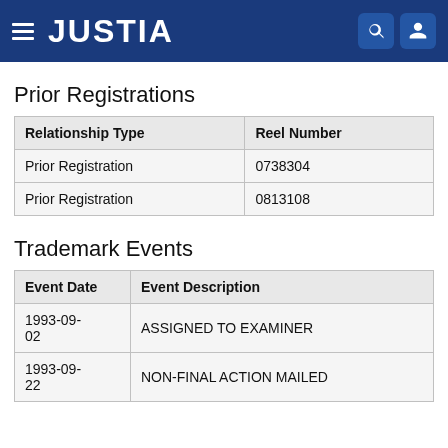JUSTIA
Prior Registrations
| Relationship Type | Reel Number |
| --- | --- |
| Prior Registration | 0738304 |
| Prior Registration | 0813108 |
Trademark Events
| Event Date | Event Description |
| --- | --- |
| 1993-09-02 | ASSIGNED TO EXAMINER |
| 1993-09-22 | NON-FINAL ACTION MAILED |